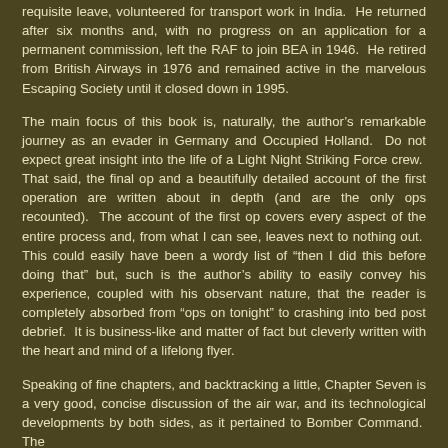requisite leave, volunteered for transport work in India.  He returned after six months and, with no progress on an application for a permanent commission, left the RAF to join BEA in 1946.  He retired from British Airways in 1976 and remained active in the marvelous Escaping Society until it closed down in 1995.
The main focus of this book is, naturally, the author's remarkable journey as an evader in Germany and Occupied Holland.  Do not expect great insight into the life of a Light Night Striking Force crew.  That said, the final op and a beautifully detailed account of the first operation are written about in depth (and are the only ops recounted).  The account of the first op covers every aspect of the entire process and, from what I can see, leaves next to nothing out.  This could easily have been a wordy list of “then I did this before doing that” but, such is the author’s ability to easily convey his experience, coupled with his observant nature, that the reader is completely absorbed from “ops on tonight” to crashing into bed post debrief.  It is business-like and matter of fact but cleverly written with the heart and mind of a lifelong flyer.
Speaking of fine chapters, and backtracking a little, Chapter Seven is a very good, concise discussion of the air war, and its technological developments by both sides, as it pertained to Bomber Command.  The